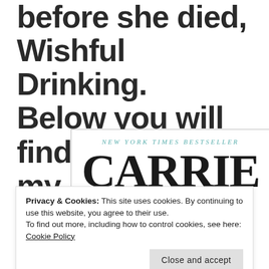before she died, Wishful Drinking. Below you will find my review:
[Figure (illustration): Book cover of 'Wishful Drinking' by Carrie Fisher, labeled 'NEW YORK TIMES BESTSELLER' at top in teal italic letters, with 'CARRIE' in large serif font and 'WISHFUL' visible at bottom, all in black on white with a thin border.]
Privacy & Cookies: This site uses cookies. By continuing to use this website, you agree to their use.
To find out more, including how to control cookies, see here: Cookie Policy
Close and accept